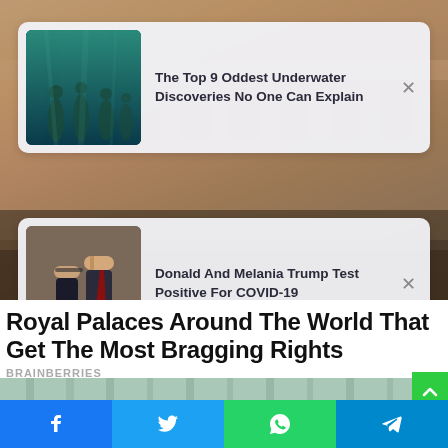[Figure (photo): Background photo of a stone/sandstone building (royal palace) with warm brown tones]
[Figure (screenshot): Notification card 1: thumbnail of underwater statues (greenish-blue water), title: The Top 9 Oddest Underwater Discoveries No One Can Explain, with X close button]
[Figure (screenshot): Notification card 2: thumbnail of Donald and Melania Trump, title: Donald And Melania Trump Test Positive For COVID-19, with X close button]
Royal Palaces Around The World That Get The Most Bragging Rights
BRAINBERRIES
[Figure (photo): Bottom partial image strip showing light green/teal columns or curtains]